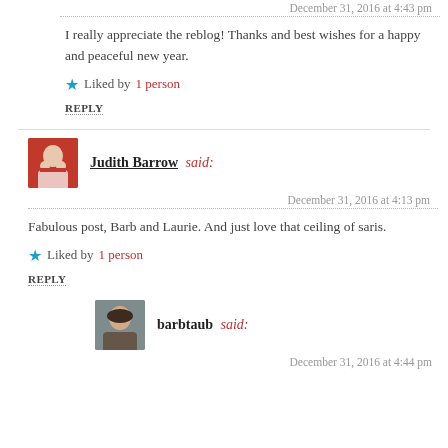December 31, 2016 at 4:43 pm
I really appreciate the reblog! Thanks and best wishes for a happy and peaceful new year.
Liked by 1 person
REPLY
Judith Barrow said:
December 31, 2016 at 4:13 pm
Fabulous post, Barb and Laurie. And just love that ceiling of saris.
Liked by 1 person
REPLY
barbtaub said:
December 31, 2016 at 4:44 pm